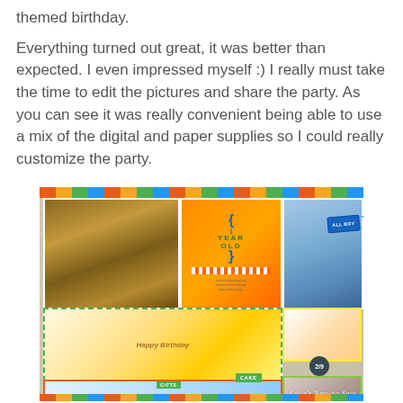themed birthday.
Everything turned out great, it was better than expected.  I even impressed myself :)  I really must take the time to edit the pictures and share the party.  As you can see it was really convenient being able to use a mix of the digital and paper supplies so I could really customize the party.
[Figure (photo): A scrapbook layout featuring a child's first birthday party. The layout includes multiple photos arranged in a grid format: a photo of a child at a table with colorful decorations, a card reading '1 YEAR OLD', a baby photo with 'ALL BOY' star badge, a cake photo with 'CAKE' label, a gifts section, additional photos of people at the party, and decorative borders. Watermark reads "Katie's Nesting Spot".]